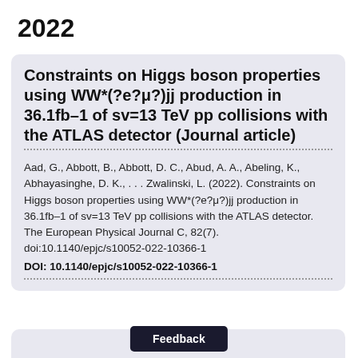2022
Constraints on Higgs boson properties using WW*(?e?μ?)jj production in 36.1fb-1 of sv=13 TeV pp collisions with the ATLAS detector (Journal article)
Aad, G., Abbott, B., Abbott, D. C., Abud, A. A., Abeling, K., Abhayasinghe, D. K., . . . Zwalinski, L. (2022). Constraints on Higgs boson properties using WW*(?e?μ?)jj production in 36.1fb-1 of sv=13 TeV pp collisions with the ATLAS detector. The European Physical Journal C, 82(7). doi:10.1140/epjc/s10052-022-10366-1 DOI: 10.1140/epjc/s10052-022-10366-1
Feedback